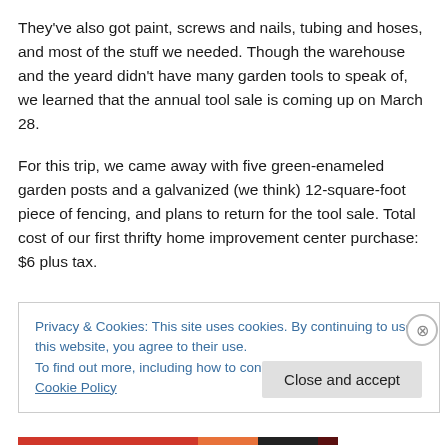They've also got paint, screws and nails, tubing and hoses, and most of the stuff we needed. Though the warehouse and the yeard didn't have many garden tools to speak of, we learned that the annual tool sale is coming up on March 28.
For this trip, we came away with five green-enameled garden posts and a galvanized (we think) 12-square-foot piece of fencing, and plans to return for the tool sale. Total cost of our first thrifty home improvement center purchase: $6 plus tax.
Privacy & Cookies: This site uses cookies. By continuing to use this website, you agree to their use.
To find out more, including how to control cookies, see here: Cookie Policy
Close and accept